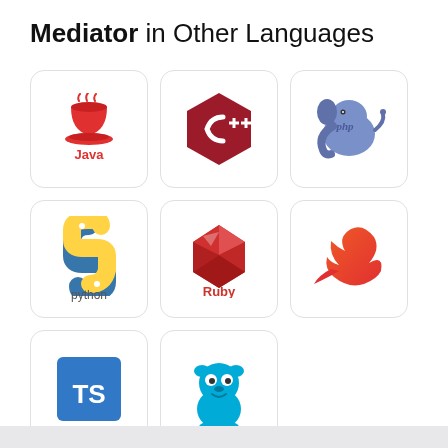Mediator in Other Languages
[Figure (logo): Java logo - red coffee cup with steam]
[Figure (logo): C++ logo - dark red hexagon with C++ text]
[Figure (logo): PHP logo - blue elephant]
[Figure (logo): Python logo - blue and yellow snake]
[Figure (logo): Ruby logo - red gem/diamond shape]
[Figure (logo): Swift logo - red/orange swift bird]
[Figure (logo): TypeScript logo - blue square with TS text]
[Figure (logo): Go logo - teal gopher mascot]